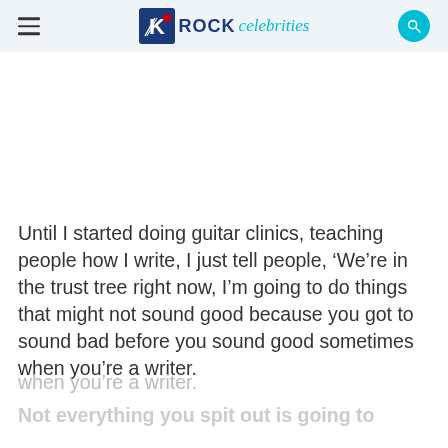ROCK celebrities
Until I started doing guitar clinics, teaching people how I write, I just tell people, ‘We’re in the trust tree right now, I’m going to do things that might not sound good because you got to sound bad before you sound good sometimes when you’re a writer.
Not everything you spit out is going to